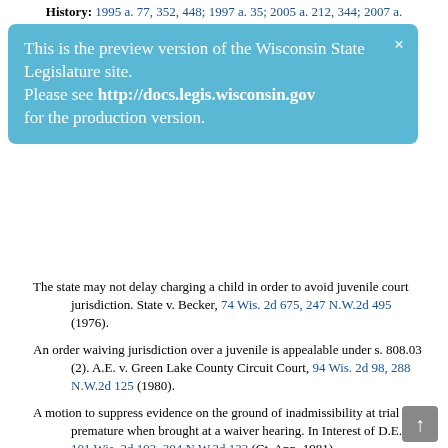History: 1995 a. 77, 352, 448; 1997 a. 35; 2005 a. 212, 344; 2007 a.
This is the preview version of the Wisconsin State Legislature site. Please see http://docs.legis.wisconsin.gov for the production version.
The state may not delay charging a child in order to avoid juvenile court jurisdiction. State v. Becker, 74 Wis. 2d 675, 247 N.W.2d 495 (1976).
An order waiving jurisdiction over a juvenile is appealable under s. 808.03 (2). A.E. v. Green Lake County Circuit Court, 94 Wis. 2d 98, 288 N.W.2d 125 (1980).
A motion to suppress evidence on the ground of inadmissibility at trial is premature when brought at a waiver hearing. In Interest of D.E.D., 101 Wis. 2d 193, 304 N.W.2d 133 (Ct. App. 1981).
Even though a juvenile does not contest waiver, sub. (5) requires the state to present testimony on the issue of waiver. The determination of prosecutive merit under sub. (4) is discussed. In Interest of T.R.B., 109 Wis. 2d 179, 325 N.W.2d 329 (1982).
An involuntary confession, if reliable and trustworthy, may be used to determine prosecutive merit; it would not be admissible at trial. If a juvenile does not meet the burden of showing unreliability of the confession, no evidentiary hearing is required. In Interest of J.G., 119 Wis. 2d 748, 350 N.W.2d 668 (1984).
In certain contested cases, the state may establish prosecutive merit on the basis of reliable information provided in delinquency and waiver petitions alone. In Interest of P.A.K., 119 Wis. 2d 871,